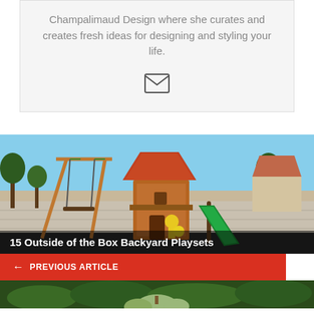Champalimaud Design where she curates and creates fresh ideas for designing and styling your life.
[Figure (illustration): Email envelope icon]
[Figure (photo): Backyard wooden playset with slide, swing set, climbing tower with orange roof, green slide, and yellow toy accessories, surrounded by trees and a concrete block wall]
15 Outside of the Box Backyard Playsets
← PREVIOUS ARTICLE
[Figure (photo): Close-up of green foliage and pumpkins in a garden, partially visible at bottom of page]